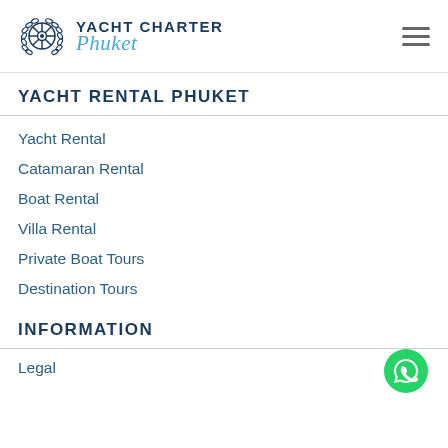YACHT CHARTER Phuket
YACHT RENTAL PHUKET
Yacht Rental
Catamaran Rental
Boat Rental
Villa Rental
Private Boat Tours
Destination Tours
INFORMATION
Legal
[Figure (logo): WhatsApp contact button, green circle with white phone handset icon]